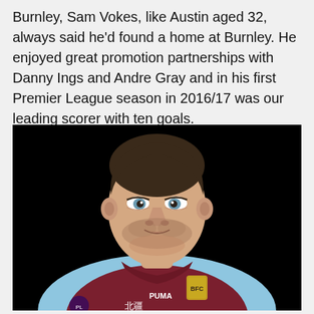Burnley, Sam Vokes, like Austin aged 32, always said he'd found a home at Burnley. He enjoyed great promotion partnerships with Danny Ings and Andre Gray and in his first Premier League season in 2016/17 was our leading scorer with ten goals.
[Figure (photo): Portrait photo of Sam Vokes wearing a Burnley FC kit (claret and sky blue Puma shirt) against a black background, looking directly at the camera.]